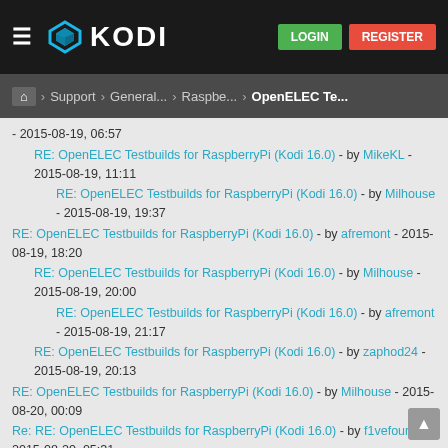[Figure (screenshot): Kodi website header with hamburger menu, Kodi logo, LOGIN and REGISTER buttons]
Home > Support > General... > Raspbe... > OpenELEC Te...
- 2015-08-19, 06:57
RE: OpenELEC Testbuilds for RaspberryPi (Kodi 16.0) - by MikeKL - 2015-08-19, 11:11
RE: OpenELEC Testbuilds for RaspberryPi (Kodi 16.0) - by Milhouse - 2015-08-19, 19:37
RE: OpenELEC Testbuilds for RaspberryPi (Kodi 16.0) - by afremont - 2015-08-19, 18:20
RE: OpenELEC Testbuilds for RaspberryPi (Kodi 16.0) - by Milhouse - 2015-08-19, 20:00
RE: OpenELEC Testbuilds for RaspberryPi (Kodi 16.0) - by afremont - 2015-08-19, 21:17
RE: OpenELEC Testbuilds for RaspberryPi (Kodi 16.0) - by zaphod24 - 2015-08-19, 20:13
RE: OpenELEC Testbuilds for RaspberryPi (Kodi 16.0) - by Milhouse - 2015-08-20, 00:09
Re: RE: OpenELEC Testbuilds for RaspberryPi (Kodi 16.0) - by f1vefour - 2015-08-20, 05:31
RE: OpenELEC Testbuilds for RaspberryPi (Kodi 16.0) - by Milhouse - 2015-08-20, 07:10